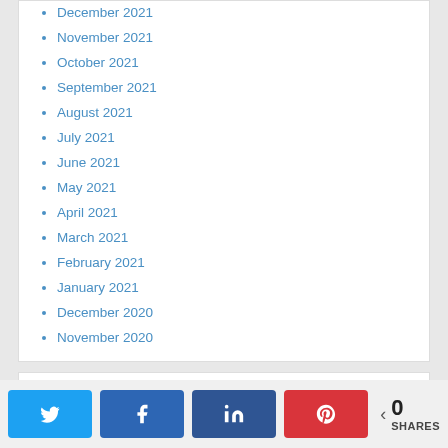December 2021
November 2021
October 2021
September 2021
August 2021
July 2021
June 2021
May 2021
April 2021
March 2021
February 2021
January 2021
December 2020
November 2020
Water Freedom
[Figure (photo): Photo showing tangled hoses or pipes outdoors, partially visible]
0 SHARES (Twitter, Facebook, LinkedIn, Pinterest share buttons)